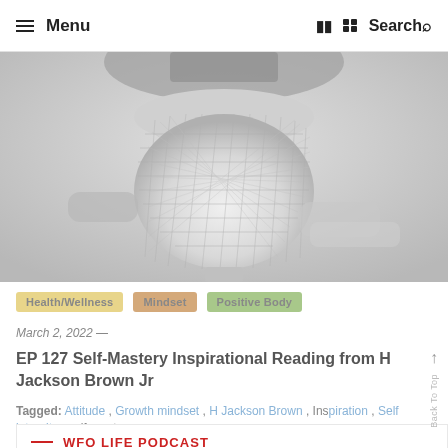≡ Menu   Facebook  Twitter  Search
[Figure (photo): Close-up photograph of a white studio microphone, grayscale/desaturated, filling the hero banner area]
Health/Wellness   Mindset   Positive Body
March 2, 2022 —
EP 127 Self-Mastery Inspirational Reading from H Jackson Brown Jr
Tagged: Attitude , Growth mindset , H Jackson Brown , Inspiration , Self integrity , self-mastery
— WFO LIFE PODCAST